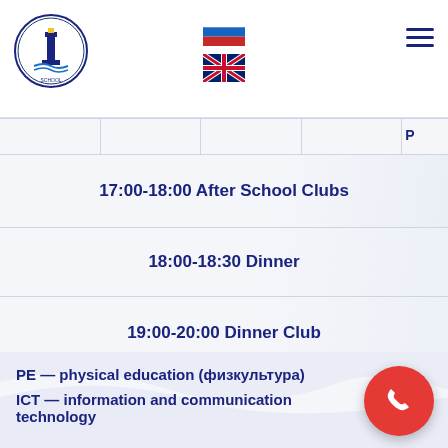[Figure (logo): Lighthouse school logo circle]
[Figure (illustration): Russian flag icon]
[Figure (illustration): UK flag icon]
| 17:00-18:00 After School Clubs |
| 18:00-18:30 Dinner |
| 19:00-20:00 Dinner Club |
PE — physical education (физкультура)
ICT — information and communication technology